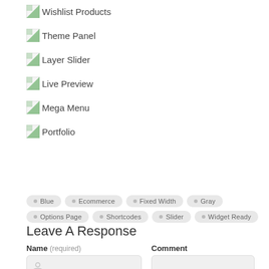Wishlist Products
Theme Panel
Layer Slider
Live Preview
Mega Menu
Portfolio
Blue  Ecommerce  Fixed Width  Gray  Options Page  Shortcodes  Slider  Widget Ready
Leave A Response
Name (required)  Comment